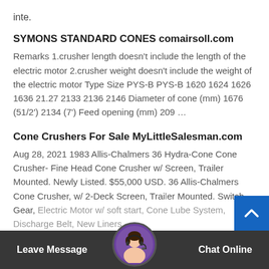inte.
SYMONS STANDARD CONES comairsoll.com
Remarks 1.crusher length doesn't include the length of the electric motor 2.crusher weight doesn't include the weight of the electric motor Type Size PYS-B PYS-B 1620 1624 1626 1636 21.27 2133 2136 2146 Diameter of cone (mm) 1676 (51/2') 2134 (7') Feed opening (mm) 209 …
Cone Crushers For Sale MyLittleSalesman.com
Aug 28, 2021 1983 Allis-Chalmers 36 Hydra-Cone Cone Crusher- Fine Head Cone Crusher w/ Screen, Trailer Mounted. Newly Listed. $55,000 USD. 36 Allis-Chalmers Cone Crusher, w/ 2-Deck Screen, Trailer Mounted. Switch Gear, Electric Motor w/ soft start, Cone Lube System, Discharge Belt, New Liners
Leave Message   Chat Online